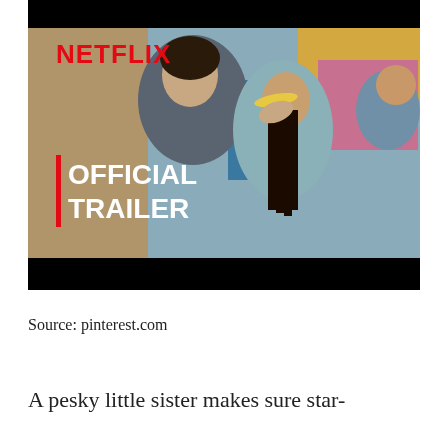[Figure (screenshot): Netflix official trailer thumbnail showing two young people in a romantic near-kiss pose, with 'NETFLIX' logo in red at top left and 'OFFICIAL TRAILER' text in white bold letters at bottom left, with a red vertical bar accent.]
Source: pinterest.com
A pesky little sister makes sure star-